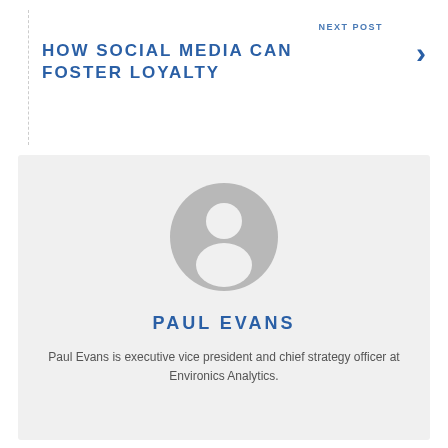NEXT POST
HOW SOCIAL MEDIA CAN FOSTER LOYALTY
[Figure (illustration): Generic user avatar placeholder — grey circle with white silhouette of a person (head and shoulders)]
PAUL EVANS
Paul Evans is executive vice president and chief strategy officer at Environics Analytics.